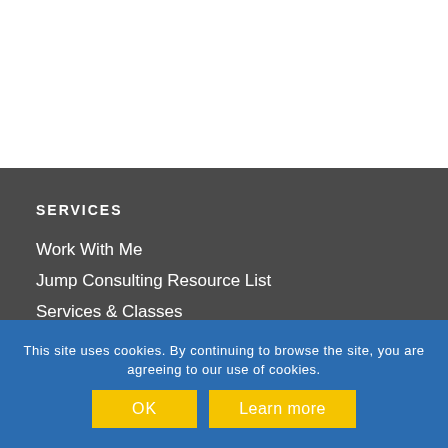SERVICES
Work With Me
Jump Consulting Resource List
Services & Classes
Videos
Podcasts
This site uses cookies. By continuing to browse the site, you are agreeing to our use of cookies.
OK
Learn more